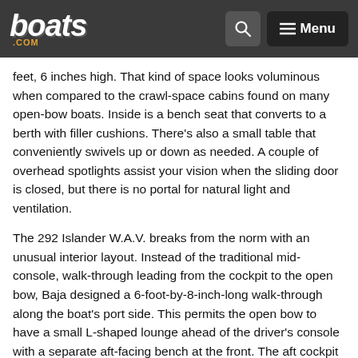boats.com — Q Menu
feet, 6 inches high. That kind of space looks voluminous when compared to the crawl-space cabins found on many open-bow boats. Inside is a bench seat that converts to a berth with filler cushions. There's also a small table that conveniently swivels up or down as needed. A couple of overhead spotlights assist your vision when the sliding door is closed, but there is no portal for natural light and ventilation.
The 292 Islander W.A.V. breaks from the norm with an unusual interior layout. Instead of the traditional mid-console, walk-through leading from the cockpit to the open bow, Baja designed a 6-foot-by-8-inch-long walk-through along the boat's port side. This permits the open bow to have a small L-shaped lounge ahead of the driver's console with a separate aft-facing bench at the front. The aft cockpit has a large U-shaped lounge seat ahead of an equally large padded sun deck over the engine compartment. Filler cushions are available to turn both the bow and aft section into large sun lounges. At the helm is a beefy offshore-like, dual-passenger racing bolster.